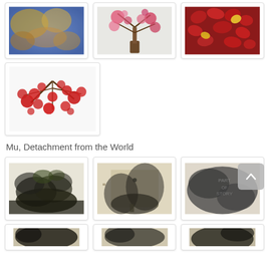[Figure (photo): Top row of three thumbnail images in white-bordered cards: left shows colorful autumn leaves abstract painting, center shows pink cherry blossom tree, right shows red maple leaves with yellow accents.]
[Figure (photo): Second row: single thumbnail card showing red berries/blossoms on snowy white background painting.]
Mu, Detachment from the World
[Figure (photo): Third row of three thumbnail cards showing ink wash paintings: left shows dark foliage landscape, center shows misty mountain/rock ink painting, right shows black and white abstract ink wash artwork with text overlay.]
[Figure (photo): Bottom partial row showing three partially visible thumbnail cards with dark ink wash paintings.]